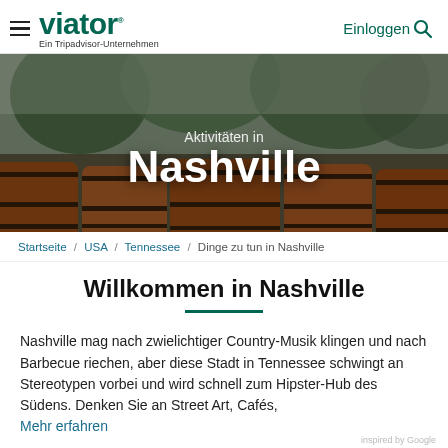viator — Ein Tripadvisor-Unternehmen | Einloggen
[Figure (photo): Rows of wooden whiskey barrels with trees in the background. Hero banner image for Nashville activities page with overlaid text: Aktivitäten in Nashville]
Aktivitäten in Nashville
Startseite / USA / Tennessee / Dinge zu tun in Nashville
Willkommen in Nashville
Nashville mag nach zwielichtiger Country-Musik klingen und nach Barbecue riechen, aber diese Stadt in Tennessee schwingt an Stereotypen vorbei und wird schnell zum Hipster-Hub des Südens. Denken Sie an Street Art, Cafés, Mehr erfahren